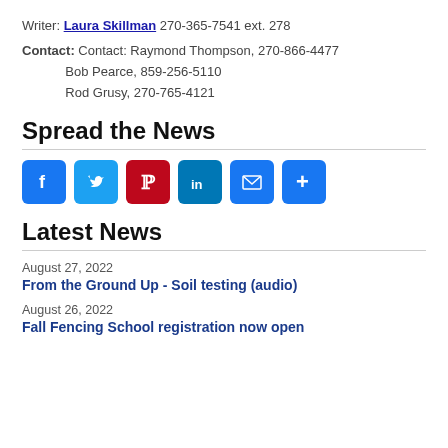Writer: Laura Skillman 270-365-7541 ext. 278
Contact: Contact: Raymond Thompson, 270-866-4477
Bob Pearce, 859-256-5110
Rod Grusy, 270-765-4121
Spread the News
[Figure (infographic): Social media sharing buttons: Facebook, Twitter, Pinterest, LinkedIn, Email, More (+)]
Latest News
August 27, 2022
From the Ground Up - Soil testing (audio)
August 26, 2022
Fall Fencing School registration now open